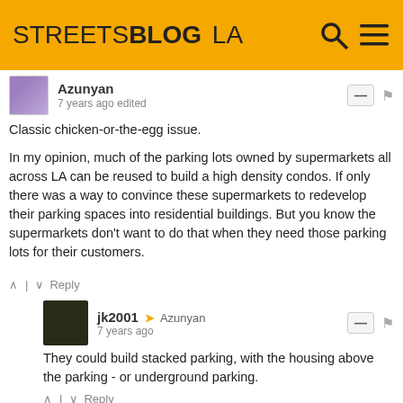STREETSBLOG LA
Azunyan
7 years ago edited
Classic chicken-or-the-egg issue.

In my opinion, much of the parking lots owned by supermarkets all across LA can be reused to build a high density condos. If only there was a way to convince these supermarkets to redevelop their parking spaces into residential buildings. But you know the supermarkets don't want to do that when they need those parking lots for their customers.
Reply
jk2001 → Azunyan
7 years ago
They could build stacked parking, with the housing above the parking - or underground parking.
Reply
Azunyan → jk2001